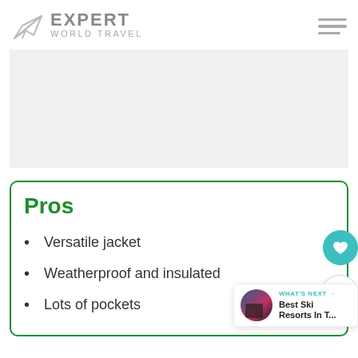EXPERT WORLD TRAVEL
[Figure (other): Advertisement placeholder block, light gray background]
Pros
Versatile jacket
Weatherproof and insulated
Lots of pockets